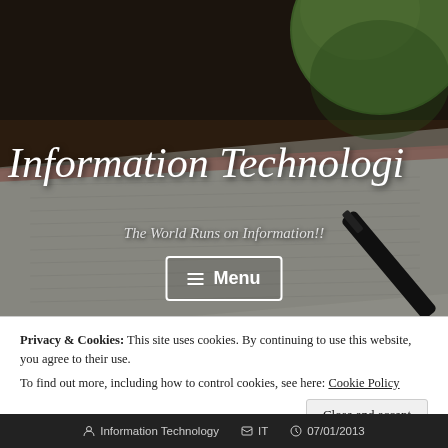[Figure (photo): Background photo of a notebook with lined paper and a pen, with a green apple visible in the upper right corner, dark moody tones.]
Information Technologi
The World Runs on Information!!
≡  Menu
Privacy & Cookies: This site uses cookies. By continuing to use this website, you agree to their use.
To find out more, including how to control cookies, see here: Cookie Policy
Close and accept
Information Technology   IT   07/01/2013